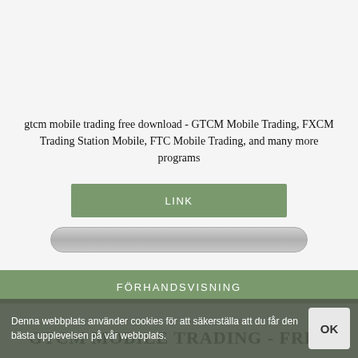gtcm mobile trading free download - GTCM Mobile Trading, FXCM Trading Station Mobile, FTC Mobile Trading, and many more programs
[Figure (other): Green button labeled LINK]
[Figure (other): Gray progress bar / loading bar]
[Figure (other): Green full-width button labeled FÖRHANDSVISNING]
GTCM MOBILE TRADING - FREE
Denna webbplats använder cookies för att säkerställa att du får den bästa upplevelsen på vår webbplats.